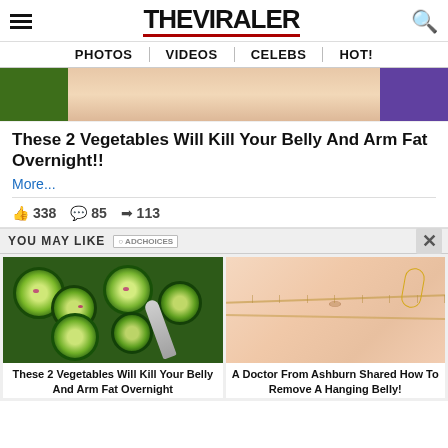THE VIRALER
PHOTOS | VIDEOS | CELEBS | HOT!
[Figure (photo): Cropped image showing partial view of a person in a green and purple bikini]
These 2 Vegetables Will Kill Your Belly And Arm Fat Overnight!!
More...
338   85   113
YOU MAY LIKE
[Figure (photo): Cucumber salad with red onions and spices]
These 2 Vegetables Will Kill Your Belly And Arm Fat Overnight
[Figure (photo): Close-up of a person's belly with a measuring tape]
A Doctor From Ashburn Shared How To Remove A Hanging Belly!